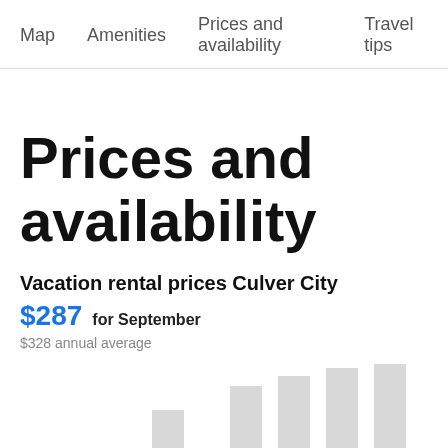Map   Amenities   Prices and availability   Travel tips
Prices and availability
Vacation rental prices Culver City
$287 for September
$328 annual average
[Figure (bar-chart): Partial bar chart visible at bottom of page showing monthly price bars in light gray]